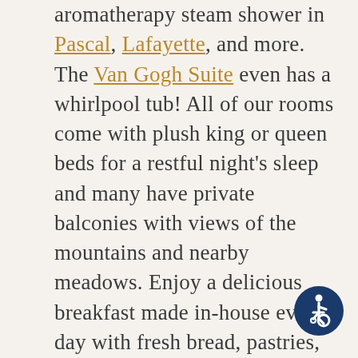aromatherapy steam shower in Pascal, Lafayette, and more. The Van Gogh Suite even has a whirlpool tub! All of our rooms come with plush king or queen beds for a restful night's sleep and many have private balconies with views of the mountains and nearby meadows. Enjoy a delicious breakfast made in-house every day with fresh bread, pastries, and locally roasted coffee. Enjoy a main course with delectable dishes like Cherry Crepes with Minted Maple Syrup and the best Eggs Benedict you've ever had! There's no reason to wait for the weekend! Book a midweek countryside getaway at our beautiful bed and breakfast in Virginia and escape life for a while with romance and exciting area activities. Make memories to last...
[Figure (illustration): Accessibility icon — a circular dark blue badge with a white wheelchair/person symbol]